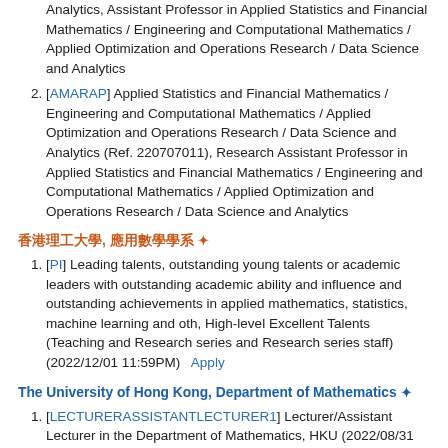Analytics, Assistant Professor in Applied Statistics and Financial Mathematics / Engineering and Computational Mathematics / Applied Optimization and Operations Research / Data Science and Analytics
[AMARAP] Applied Statistics and Financial Mathematics / Engineering and Computational Mathematics / Applied Optimization and Operations Research / Data Science and Analytics (Ref. 220707011), Research Assistant Professor in Applied Statistics and Financial Mathematics / Engineering and Computational Mathematics / Applied Optimization and Operations Research / Data Science and Analytics
香港理工大學, 應用數學學系 ✦
[PI] Leading talents, outstanding young talents or academic leaders with outstanding academic ability and influence and outstanding achievements in applied mathematics, statistics, machine learning and oth, High-level Excellent Talents (Teaching and Research series and Research series staff) (2022/12/01 11:59PM)   Apply
The University of Hong Kong, Department of Mathematics ✦
[LECTURERASSISTANTLECTURER1] Lecturer/Assistant Lecturer in the Department of Mathematics, HKU (2022/08/31 11:59PM)
Sun Yat-sen University, School of Science ✦
[ASSOCPROF] Basic Mathematics, Applied Mathematics, Computational Mathematics, Statistics and other related majors,